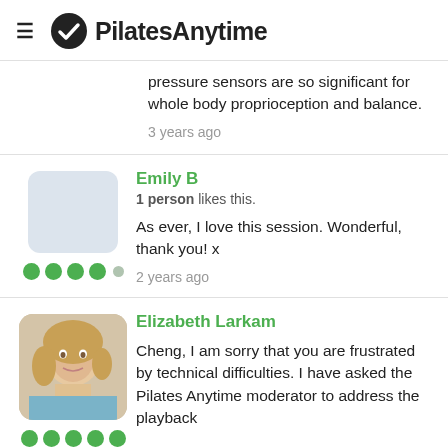PilatesAnytime
pressure sensors are so significant for whole body proprioception and balance.
3 years ago
Emily B
1 person likes this.
As ever, I love this session.  Wonderful, thank you! x
2 years ago
Elizabeth Larkam
Cheng, I am sorry that you are frustrated by technical difficulties. I have asked the Pilates Anytime moderator to address the playback